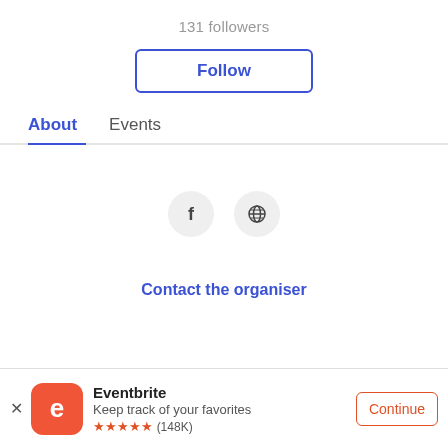131 followers
Follow
About
Events
[Figure (illustration): Facebook icon in a light grey circle]
[Figure (illustration): Globe/web icon in a light grey circle]
Contact the organiser
[Figure (logo): Eventbrite orange app icon with white 'e' logo]
Eventbrite
Keep track of your favorites
★★★★★ (148K)
Continue